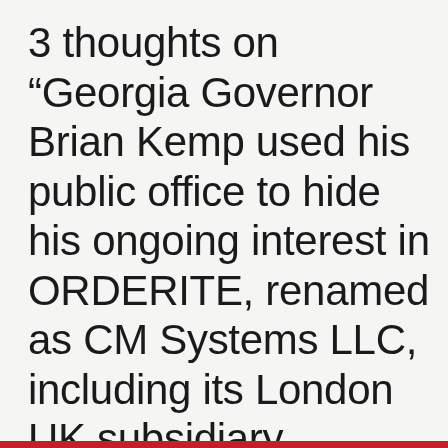3 thoughts on “Georgia Governor Brian Kemp used his public office to hide his ongoing interest in ORDERITE, renamed as CM Systems LLC, including its London UK subsidiary COMPLIANCEMATER LIMITED”